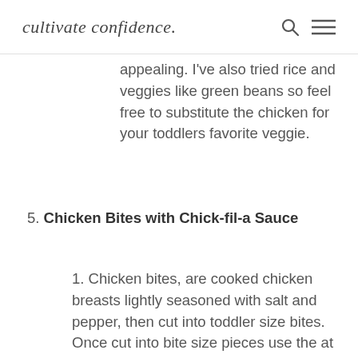cultivate confidence.
appealing. I've also tried rice and veggies like green beans so feel free to substitute the chicken for your toddlers favorite veggie.
5. Chicken Bites with Chick-fil-a Sauce
1. Chicken bites, are cooked chicken breasts lightly seasoned with salt and pepper, then cut into toddler size bites. Once cut into bite size pieces use the at home Chick-fil-a